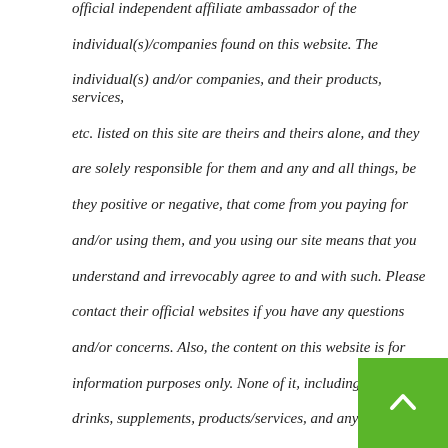official independent affiliate ambassador of the individual(s)/companies found on this website. The individual(s) and/or companies, and their products, services, etc. listed on this site are theirs and theirs alone, and they are solely responsible for them and any and all things, be they positive or negative, that come from you paying for and/or using them, and you using our site means that you understand and irrevocably agree to and with such. Please contact their official websites if you have any questions and/or concerns. Also, the content on this website is for information purposes only. None of it, including the food, drinks, supplements, products/services, and anything and everything else about which it speaks, is intended to diagnose, treat, cure, or prevent any disease, and you accessing it/them, be it purposefully or accidentally, means you clearly and irrevocably understand such. Thank you.